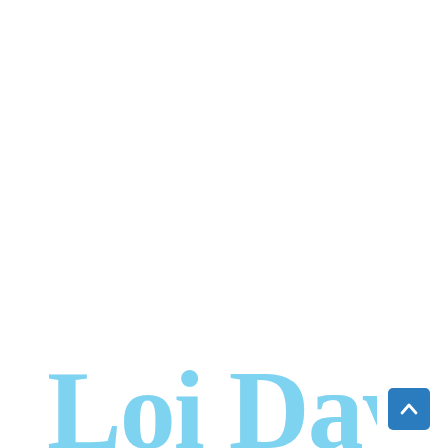[Figure (logo): Partial cursive script text reading 'Loi Day' in light sky blue color, partially cropped at the bottom of the page]
[Figure (other): A small blue square button with an upward-pointing chevron/arrow icon in white, positioned at the bottom right corner]